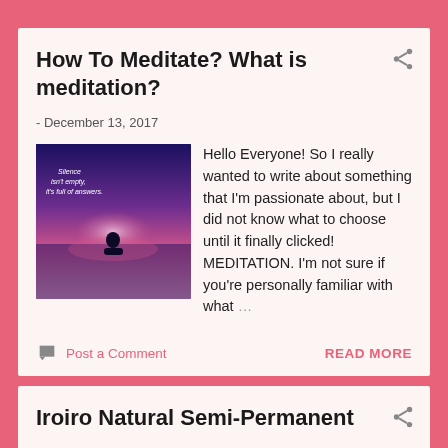How To Meditate? What is meditation?
- December 13, 2017
[Figure (photo): A silhouette of a person meditating on water with a purple/pink sunset background and text 'Silence isn't empty, it's full of answers.']
Hello Everyone! So I really wanted to write about something that I'm passionate about, but I did not know what to choose until it finally clicked! MEDITATION. I'm not sure if you're personally familiar with what …
Post a Comment
READ MORE
Iroiro Natural Semi-Permanent